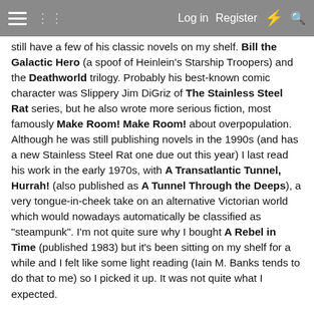Log in  Register
still have a few of his classic novels on my shelf. Bill the Galactic Hero (a spoof of Heinlein's Starship Troopers) and the Deathworld trilogy. Probably his best-known comic character was Slippery Jim DiGriz of The Stainless Steel Rat series, but he also wrote more serious fiction, most famously Make Room! Make Room! about overpopulation. Although he was still publishing novels in the 1990s (and has a new Stainless Steel Rat one due out this year) I last read his work in the early 1970s, with A Transatlantic Tunnel, Hurrah! (also published as A Tunnel Through the Deeps), a very tongue-in-cheek take on an alternative Victorian world which would nowadays automatically be classified as "steampunk". I'm not quite sure why I bought A Rebel in Time (published 1983) but it's been sitting on my shelf for a while and I felt like some light reading (Iain M. Banks tends to do that to me) so I picked it up. It was not quite what I expected.
A Rebel in Time deals with two familiar SF themes; time travel and alternate histories. A present-day soldier, Troy